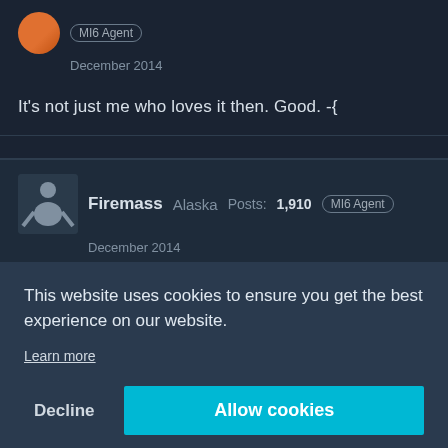MI6 Agent
December 2014
It's not just me who loves it then. Good. -{
Firemass   Alaska   Posts: 1,910   MI6 Agent
December 2014
broadshoulder wrote:
This website uses cookies to ensure you get the best experience on our website.
Learn more
Decline   Allow cookies